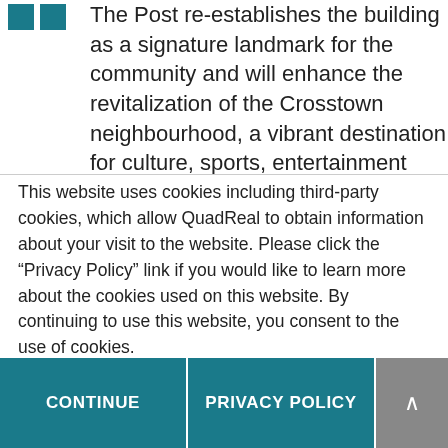The Post re-establishes the building as a signature landmark for the community and will enhance the revitalization of the Crosstown neighbourhood, a vibrant destination for culture, sports, entertainment and
This website uses cookies including third-party cookies, which allow QuadReal to obtain information about your visit to the website. Please click the “Privacy Policy” link if you would like to learn more about the cookies used on this website. By continuing to use this website, you consent to the use of cookies.
CONTINUE
PRIVACY POLICY